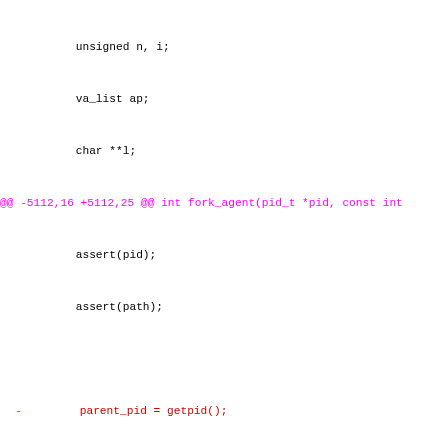Code diff showing changes to fork_agent function, including addition of signal blocking logic before fork(), and restructuring of error handling.